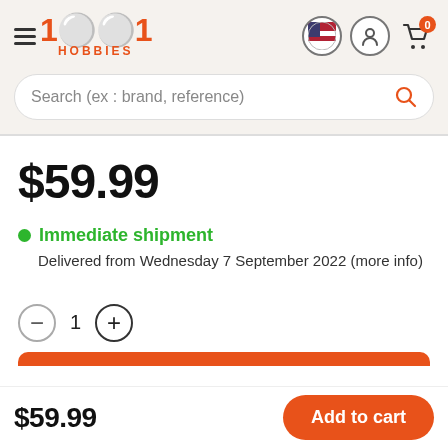[Figure (logo): 1001 Hobbies logo in orange with hamburger menu icon on left and country flag, user icon, cart icon on right]
Search (ex : brand, reference)
$59.99
Immediate shipment
Delivered from Wednesday 7 September 2022 (more info)
1
$59.99
Add to cart